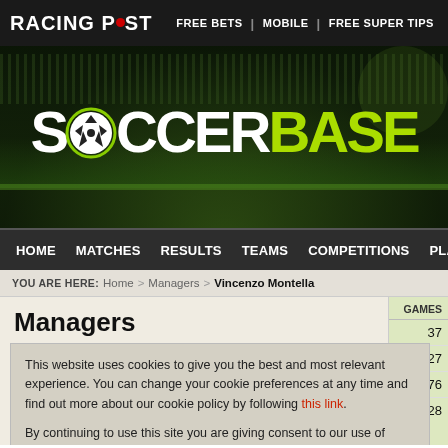RACING POST | FREE BETS | MOBILE | FREE SUPER TIPS
[Figure (screenshot): Soccerbase logo on a dark green stadium background with crowd. Text reads SOCCERBASE with a soccer ball icon replacing the O in SOCCER. SOCCER is white, BASE is green/yellow.]
HOME | MATCHES | RESULTS | TEAMS | COMPETITIONS | PLAYERS | N
YOU ARE HERE: Home > Managers > Vincenzo Montella
Managers
This website uses cookies to give you the best and most relevant experience. You can change your cookie preferences at any time and find out more about our cookie policy by following this link.

By continuing to use this site you are giving consent to our use of cookies on Racing Post websites in accordance with our cookie policy.
Close
| GAMES |
| --- |
| 37 |
| 27 |
| 76 |
| 28 |